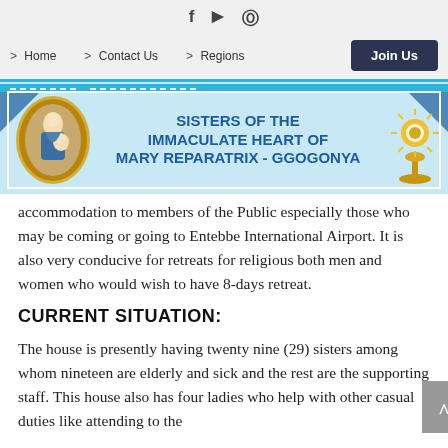f  ▶  ⊕  > Home  > Contact Us  > Regions  Join Us
[Figure (illustration): Sisters of the Immaculate Heart of Mary Reparatrix - Ggogonya banner with oval portrait of Mary and Christ child on left, monstrance on right, blue decorative border on light blue background]
accommodation to members of the Public especially those who may be coming or going to Entebbe International Airport. It is also very conducive for retreats for religious both men and women who would wish to have 8-days retreat.
CURRENT SITUATION:
The house is presently having twenty nine (29) sisters among whom nineteen are elderly and sick and the rest are the supporting staff. This house also has four ladies who help with other casual duties like attending to the